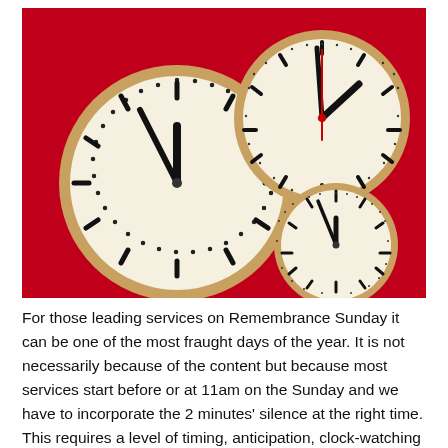[Figure (photo): Three round analog clocks with cream/white faces and gold/brass frames mounted on a bright red wall. A large clock on the left, a medium clock upper right, and a small clock lower right. The medium clock has a red second hand.]
For those leading services on Remembrance Sunday it can be one of the most fraught days of the year. It is not necessarily because of the content but because most services start before or at 11am on the Sunday and we have to incorporate the 2 minutes' silence at the right time. This requires a level of timing, anticipation, clock-watching and 'seat of the pants' ministering that can